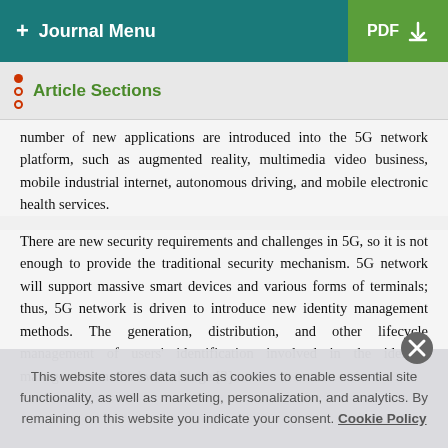+ Journal Menu   PDF ↓
Article Sections
number of new applications are introduced into the 5G network platform, such as augmented reality, multimedia video business, mobile industrial internet, autonomous driving, and mobile electronic health services.
There are new security requirements and challenges in 5G, so it is not enough to provide the traditional security mechanism. 5G network will support massive smart devices and various forms of terminals; thus, 5G network is driven to introduce new identity management methods. The generation, distribution, and other lifecycle management of users' identification involved in the identity management method will change [2].
This website stores data such as cookies to enable essential site functionality, as well as marketing, personalization, and analytics. By remaining on this website you indicate your consent. Cookie Policy